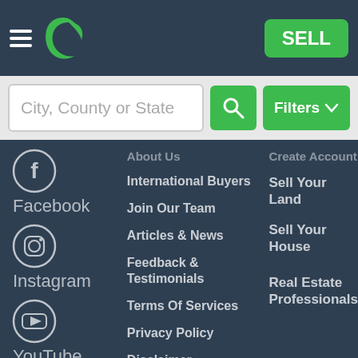[Figure (screenshot): Navigation bar with hamburger menu, green logo, and SELL button]
[Figure (screenshot): Search bar with City, County or State placeholder, search button, and Filters dropdown]
Facebook
Instagram
YouTube
Twitter
About Us (partial)
International Buyers
Join Our Team
Articles & News
Feedback & Testimonials
Terms Of Services
Privacy Policy
Disclaimer
Help Center
Contact Us
Create Account (partial)
Sell Your Land
Sell Your House
Real Estate Professionals